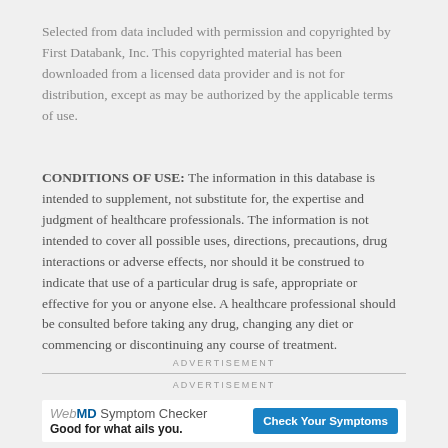Selected from data included with permission and copyrighted by First Databank, Inc. This copyrighted material has been downloaded from a licensed data provider and is not for distribution, except as may be authorized by the applicable terms of use.
CONDITIONS OF USE: The information in this database is intended to supplement, not substitute for, the expertise and judgment of healthcare professionals. The information is not intended to cover all possible uses, directions, precautions, drug interactions or adverse effects, nor should it be construed to indicate that use of a particular drug is safe, appropriate or effective for you or anyone else. A healthcare professional should be consulted before taking any drug, changing any diet or commencing or discontinuing any course of treatment.
ADVERTISEMENT
ADVERTISEMENT
[Figure (other): WebMD Symptom Checker advertisement banner. Text reads: WebMD Symptom Checker — Good for what ails you. Button: Check Your Symptoms]